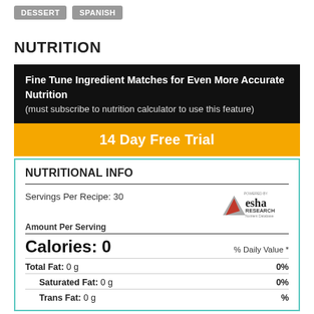DESSERT  SPANISH
NUTRITION
Fine Tune Ingredient Matches for Even More Accurate Nutrition (must subscribe to nutrition calculator to use this feature)
14 Day Free Trial
| Nutrient | Amount | % Daily Value |
| --- | --- | --- |
| Servings Per Recipe: | 30 |  |
| Calories: | 0 | % Daily Value * |
| Total Fat: | 0 g | 0% |
| Saturated Fat: | 0 g | 0% |
| Trans Fat: | 0 g | % |